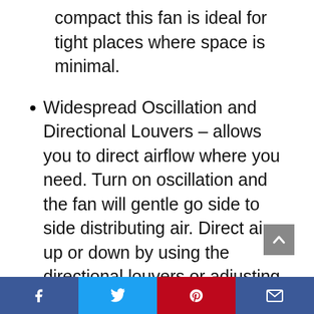compact this fan is ideal for tight places where space is minimal.
Widespread Oscillation and Directional Louvers – allows you to direct airflow where you need. Turn on oscillation and the fan will gentle go side to side distributing air. Direct air up or down by using the directional louvers or adjusting the fans height.
Wireless Remote Control and LED Display – are two great features that make this fan easy to control. The remote allows you adjust the